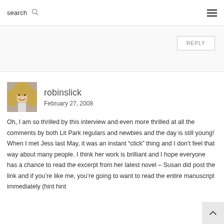search
REPLY
robinslick
February 27, 2008
Oh, I am so thrilled by this interview and even more thrilled at all the comments by both Lit Park regulars and newbies and the day is still young! When I met Jess last May, it was an instant “click” thing and I don’t feel that way about many people. I think her work is brilliant and I hope everyone has a chance to read the excerpt from her latest novel – Susan did post the link and if you’re like me, you’re going to want to read the entire manuscript immediately (hint hint